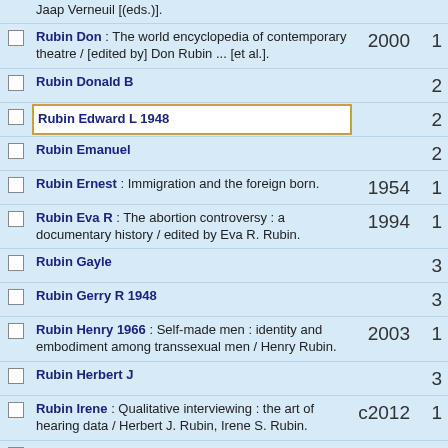Jaap Verneuil [(eds.)].
Rubin Don : The world encyclopedia of contemporary theatre / [edited by] Don Rubin ... [et al.]. 2000 1
Rubin Donald B 2
Rubin Edward L 1948 2
Rubin Emanuel 2
Rubin Ernest : Immigration and the foreign born. 1954 1
Rubin Eva R : The abortion controversy : a documentary history / edited by Eva R. Rubin. 1994 1
Rubin Gayle 3
Rubin Gerry R 1948 3
Rubin Henry 1966 : Self-made men : identity and embodiment among transsexual men / Henry Rubin. 2003 1
Rubin Herbert J 3
Rubin Irene : Qualitative interviewing : the art of hearing data / Herbert J. Rubin, Irene S. Rubin. c2012 1
Rubin Irene S 2
Rubin Irwin M : Organisational behaviour : an experiential approach / David A. Kolb, Joyce S. Osland, Irwin M. Rubin. 1995 1